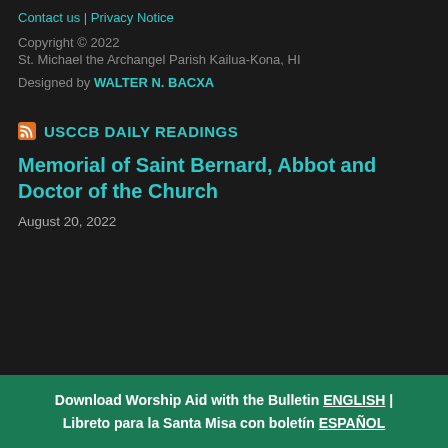Contact us | Privacy Notice
Copyright © 2022
St. Michael the Archangel Parish Kailua-Kona, HI
Designed by WALTER N. BACXA
USCCB DAILY READINGS
Memorial of Saint Bernard, Abbot and Doctor of the Church
August 20, 2022
Download Worship Aid with the Bulletin ENGLISH | Libreto para la Santa Misa con boletín ESPAÑOL